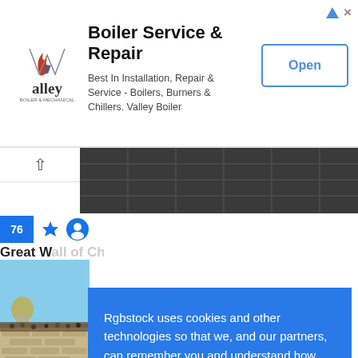[Figure (screenshot): Advertisement banner for Valley Boiler - Boiler Service & Repair with logo, text description and Open button]
[Figure (photo): Aerial or top-down view of a dark tiled roof or stone surface]
76 ★ 👤
Great W... of Chi...
[Figure (photo): Photo of the Western Wall in Jerusalem with the Dome of the Rock visible in the background, crowds of people at the wall]
76 ★
The We...
Rgbstock uses cookies and other technologies so that we, and our partners, can remember you and understand how you and other visitors use our site. If you have any questions, please contact us or read our terms of use.  Learn more
Decline
Got it!